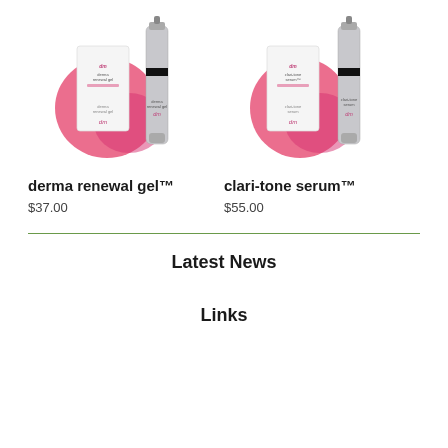[Figure (photo): Derma renewal gel product photo showing bottle and box with pink accent and dm logo]
derma renewal gel™
$37.00
[Figure (photo): Clari-tone serum product photo showing bottle and box with pink accent and dm logo]
clari-tone serum™
$55.00
Latest News
Links